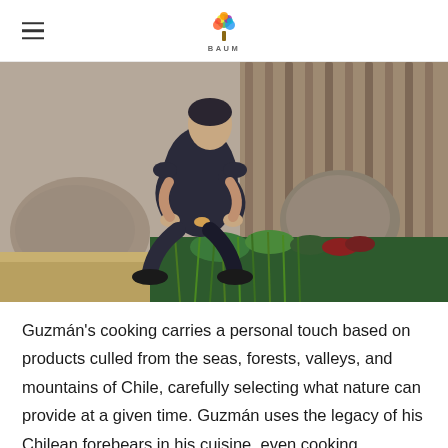BAUM
[Figure (photo): A man wearing a dark t-shirt and dark pants crouching outdoors near rocks and green plants, appearing to examine or pick something from the ground. A wooden fence or structure is visible in the background.]
Guzmán's cooking carries a personal touch based on products culled from the seas, forests, valleys, and mountains of Chile, carefully selecting what nature can provide at a given time. Guzmán uses the legacy of his Chilean forebears in his cuisine, even cooking